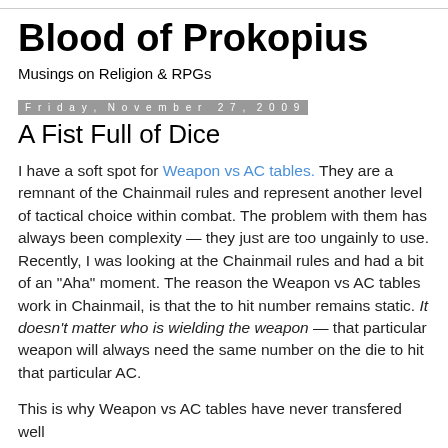Blood of Prokopius
Musings on Religion & RPGs
Friday, November 27, 2009
A Fist Full of Dice
I have a soft spot for Weapon vs AC tables. They are a remnant of the Chainmail rules and represent another level of tactical choice within combat. The problem with them has always been complexity — they just are too ungainly to use. Recently, I was looking at the Chainmail rules and had a bit of an "Aha" moment. The reason the Weapon vs AC tables work in Chainmail, is that the to hit number remains static. It doesn't matter who is wielding the weapon — that particular weapon will always need the same number on the die to hit that particular AC.
This is why Weapon vs AC tables have never transfered well